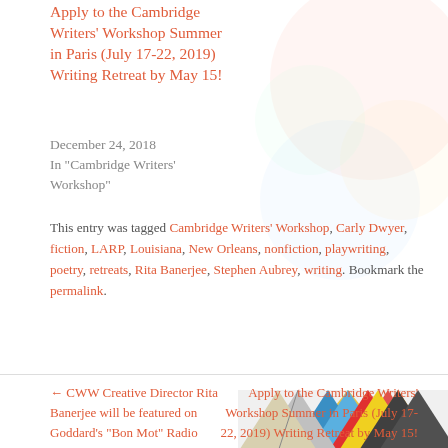Apply to the Cambridge Writers' Workshop Summer in Paris (July 17-22, 2019) Writing Retreat by May 15!
December 24, 2018
In "Cambridge Writers' Workshop"
This entry was tagged Cambridge Writers' Workshop, Carly Dwyer, fiction, LARP, Louisiana, New Orleans, nonfiction, playwriting, poetry, retreats, Rita Banerjee, Stephen Aubrey, writing. Bookmark the permalink.
[Figure (photo): Colorful geometric triangular pattern image strip on right side]
← CWW Creative Director Rita Banerjee will be featured on Goddard's “Bon Mot” Radio Program on 91.1 / 91.7 FM Vermont – November 11, 2018
Apply to the Cambridge Writers' Workshop Summer in Paris (July 17-22, 2019) Writing Retreat by May 15! →